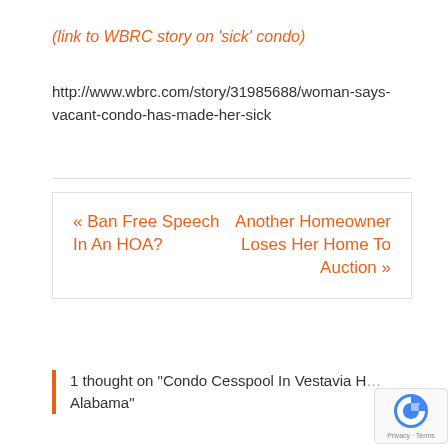(link to WBRC story on ‘sick’ condo)
http://www.wbrc.com/story/31985688/woman-says-vacant-condo-has-made-her-sick
« Ban Free Speech In An HOA?
Another Homeowner Loses Her Home To Auction »
1 thought on “Condo Cesspool In Vestavia Hills, Alabama”